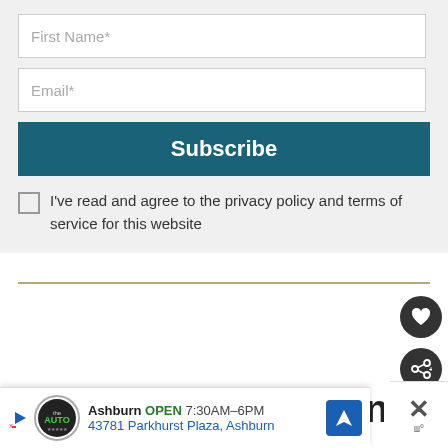First Name*
Email*
Subscribe
I've read and agree to the privacy policy and terms of service for this website
[Figure (other): Horizontal gold/tan divider line]
[Figure (other): Dark circular heart/favorite button on right side]
[Figure (other): Dark circular share button on right side]
Changing an avoidant a
[Figure (other): Advertisement banner: Ashburn OPEN 7:30AM-6PM, 43781 Parkhurst Plaza, Ashburn with The Auto logo and navigation icon]